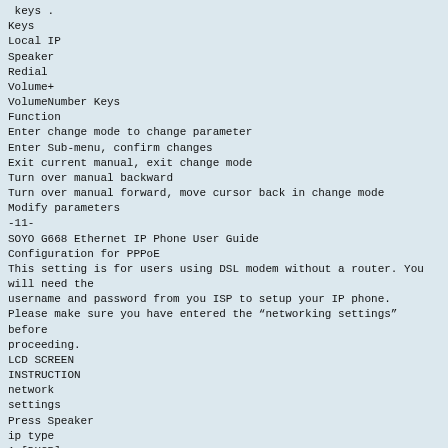keys .
Keys
Local IP
Speaker
Redial
Volume+
VolumeNumber Keys
Function
Enter change mode to change parameter
Enter Sub-menu, confirm changes
Exit current manual, exit change mode
Turn over manual backward
Turn over manual forward, move cursor back in change mode
Modify parameters
-11-
SOYO G668 Ethernet IP Phone User Guide
Configuration for PPPoE
This setting is for users using DSL modem without a router. You will need the
username and password from you ISP to setup your IP phone.
Please make sure you have entered the “networking settings” before
proceeding.
LCD SCREEN
INSTRUCTION
network
settings
Press Speaker
ip type
1 [DHCP]
Press Local IP, then 2, then press Speaker